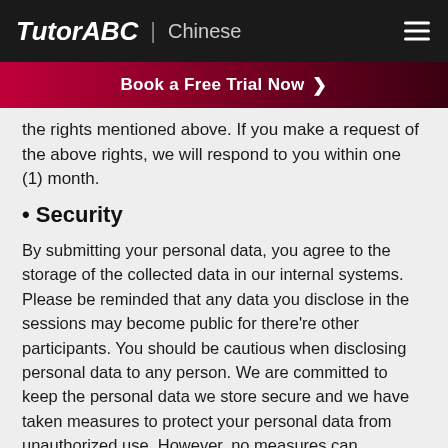TutorABC | Chinese
[Figure (infographic): Red gradient banner with text 'Book a Free Trial Now' and a right-pointing chevron arrow]
the rights mentioned above. If you make a request of the above rights, we will respond to you within one (1) month.
• Security
By submitting your personal data, you agree to the storage of the collected data in our internal systems. Please be reminded that any data you disclose in the sessions may become public for there're other participants. You should be cautious when disclosing personal data to any person. We are committed to keep the personal data we store secure and we have taken measures to protect your personal data from unauthorized use. However, no measures can guarantee secure.